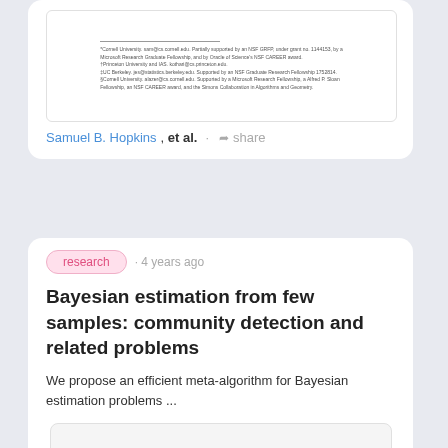[Figure (screenshot): Partial view of a paper footnote section with small text about Cornell University, Microsoft Research, Princeton University, UC Berkeley affiliations and funding information]
Samuel B. Hopkins, et al. · share
research · 4 years ago
Bayesian estimation from few samples: community detection and related problems
We propose an efficient meta-algorithm for Bayesian estimation problems ...
[Figure (screenshot): Preview image of paper 'Bayesian estimation from few samples: community detection and related problems']